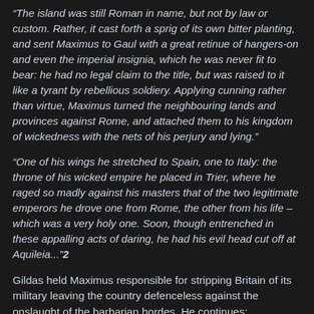“The island was still Roman in name, but not by law or custom. Rather, it cast forth a sprig of its own bitter planting, and sent Maximus to Gaul with a great retinue of hangers-on and even the imperial insignia, which he was never fit to bear: he had no legal claim to the title, but was raised to it like a tyrant by rebellious soldiery. Applying cunning rather than virtue, Maximus turned the neighbouring lands and provinces against Rome, and attached them to his kingdom of wickedness with the nets of his perjury and lying.”
“One of his wings he stretched to Spain, one to Italy: the throne of his wicked empire he placed in Trier, where he raged so madly against his masters that of the two legitimate emperors he drove one from Rome, the other from his life – which was a very holy one. Soon, though entrenched in these appalling acts of daring, he had his evil head cut off at Aquileia...”2
Gildas held Maximus responsible for stripping Britain of its military leaving the country defenceless against the onslaught of the barbarian hordes. He continues: